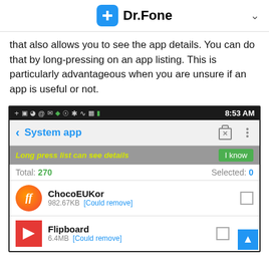Dr.Fone
that also allows you to see the app details. You can do that by long-pressing on an app listing. This is particularly advantageous when you are unsure if an app is useful or not.
[Figure (screenshot): Android screenshot showing the Dr.Fone System app manager. Status bar shows 8:53 AM. App header says 'System app' with trash and menu icons. A gray banner reads 'Long press list can see details' with an 'I know' green button. Total: 270, Selected: 0. App list shows ChocoEUKor (982.67KB [Could remove]) and Flipboard (6.4MB [Could remove]) each with a checkbox.]